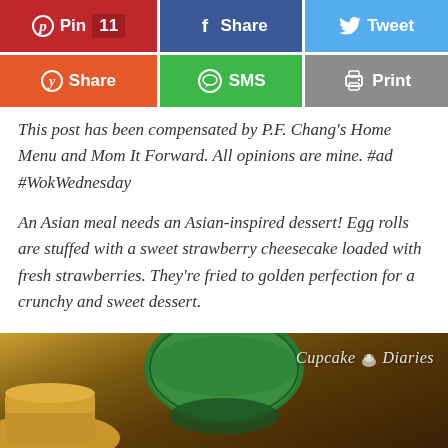[Figure (screenshot): Social sharing buttons row 1: Pinterest (Pin 11), Facebook (Share), Twitter (Tweet)]
[Figure (screenshot): Social sharing buttons row 2: Yummly (Share), SMS, Print]
This post has been compensated by P.F. Chang's Home Menu and Mom It Forward. All opinions are mine. #ad #WokWednesday
An Asian meal needs an Asian-inspired dessert! Egg rolls are stuffed with a sweet strawberry cheesecake loaded with fresh strawberries. They're fried to golden perfection for a crunchy and sweet dessert.
[Figure (photo): Photo showing a green bowl with food items, branded with 'Cupcake Diaries' watermark in bottom right]